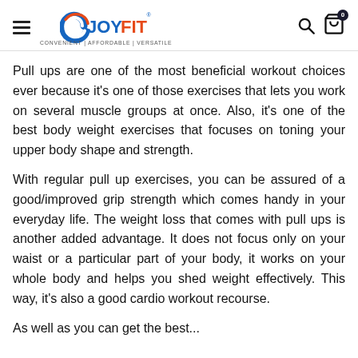JOYFIT — CONVENIENT | AFFORDABLE | VERSATILE
Pull ups are one of the most beneficial workout choices ever because it's one of those exercises that lets you work on several muscle groups at once. Also, it's one of the best body weight exercises that focuses on toning your upper body shape and strength.
With regular pull up exercises, you can be assured of a good/improved grip strength which comes handy in your everyday life. The weight loss that comes with pull ups is another added advantage. It does not focus only on your waist or a particular part of your body, it works on your whole body and helps you shed weight effectively. This way, it's also a good cardio workout recourse.
As well...